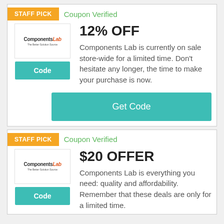[Figure (screenshot): Components Lab store logo with text 'ComponentsLab']
STAFF PICK
Coupon Verified
12% OFF
Components Lab is currently on sale store-wide for a limited time. Don't hesitate any longer, the time to make your purchase is now.
Code
Get Code
[Figure (screenshot): Components Lab store logo with text 'ComponentsLab']
STAFF PICK
Coupon Verified
$20 OFFER
Components Lab is everything you need: quality and affordability. Remember that these deals are only for a limited time.
Code